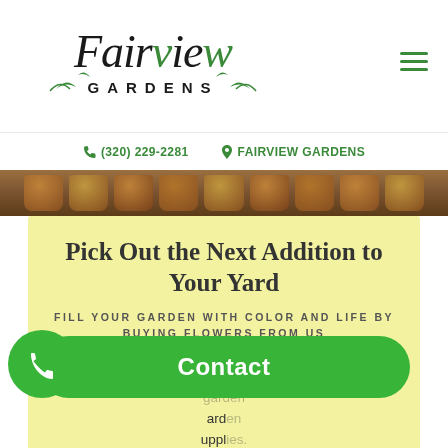[Figure (logo): Fairview Gardens logo with stylized serif italic text and green leaf accents, 'GARDENS' in spaced capitals below]
[Figure (illustration): Hamburger menu icon in green (three horizontal lines)]
(320) 229-2281   FAIRVIEW GARDENS
[Figure (photo): Photo strip showing terracotta pots with plants/fruits on a table]
Pick Out the Next Addition to Your Yard
FILL YOUR GARDEN WITH COLOR AND LIFE BY BUYING FLOWERS FROM US
You can find all sorts of seeds, potted plants and shrubs, garden supplies. No matter what you're looking for, you can count on
[Figure (illustration): Green circular phone button on bottom left, and a large green 'Contact' pill button spanning the bottom]
Contact